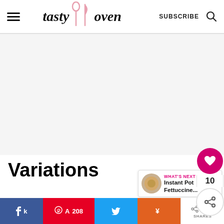tasty oven — SUBSCRIBE
[Figure (other): Advertisement / blank ad placeholder area]
Variations
WHAT'S NEXT → Instant Pot Fettuccine...
k  A 208  208 SHARES